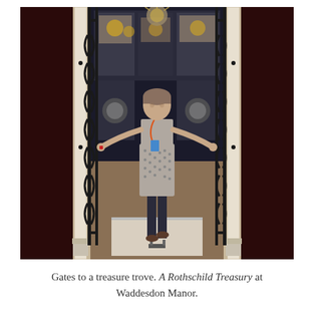[Figure (photo): A woman in a patterned dress and orange lanyard stands with arms outstretched inside ornate wrought-iron gates at a treasure exhibition at Waddesdon Manor. Display cases with objects are visible behind her.]
Gates to a treasure trove. A Rothschild Treasury at Waddesdon Manor.